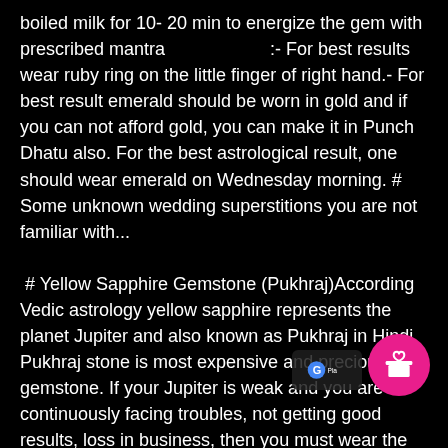boiled milk for 10- 20 min to energize the gem with prescribed mantra                    :- For best results wear ruby ring on the little finger of right hand.- For best result emerald should be worn in gold and if you can not afford gold, you can make it in Punch Dhatu also. For the best astrological result, one should wear emerald on Wednesday morning. # Some unknown wedding superstitions you are not familiar with...
# Yellow Sapphire Gemstone (Pukhraj)According Vedic astrology yellow sapphire represents the planet Jupiter and also known as Pukhraj in Hindi. Pukhraj stone is most expensive and precious gemstone. If your Jupiter is weak and you are continuously facing troubles, not getting good results, loss in business, then you must wear the yellow sapphire but it is important to consult any astrologer before wearing it.- For purification and activation of yellow sapphire, dip your Pukhraj ring in honey, Ganga Jal, for 10 to 20 mins for energizing the gem with prescribed